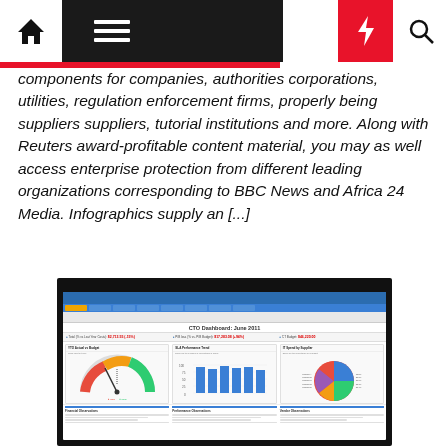Navigation bar with home, menu, moon, bolt, and search icons
components for companies, authorities corporations, utilities, regulation enforcement firms, properly being suppliers suppliers, tutorial institutions and more. Along with Reuters award-profitable content material, you may as well access enterprise protection from different leading organizations corresponding to BBC News and Africa 24 Media. Infographics supply an [...]
[Figure (screenshot): Screenshot of an IT Business Management Suite dashboard showing CIO Dashboard June 2011 with YTD Actual vs Budget gauge chart, SLA Performance Trend bar chart, and IT Spend by Supplier pie chart]